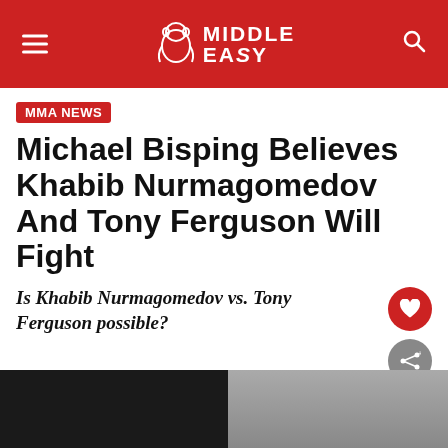Middle Easy
MMA NEWS
Michael Bisping Believes Khabib Nurmagomedov And Tony Ferguson Will Fight
Is Khabib Nurmagomedov vs. Tony Ferguson possible?
Written by Alex Behunin
Last updated on June 17th, 2022
[Figure (photo): Bottom strip showing two people, dark background on left, person on right]